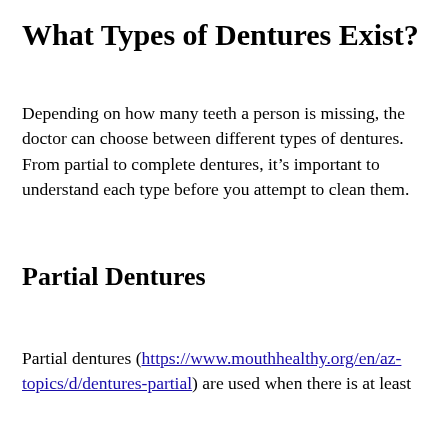What Types of Dentures Exist?
Depending on how many teeth a person is missing, the doctor can choose between different types of dentures. From partial to complete dentures, it’s important to understand each type before you attempt to clean them.
Partial Dentures
Partial dentures (https://www.mouthhealthy.org/en/az-topics/d/dentures-partial) are used when there is at least